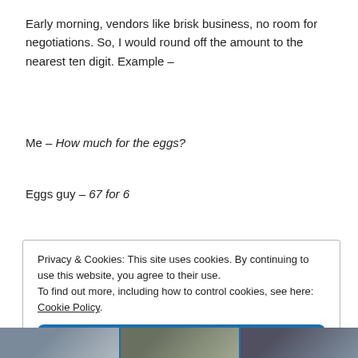Early morning, vendors like brisk business, no room for negotiations. So, I would round off the amount to the nearest ten digit. Example –
Me – How much for the eggs?
Eggs guy – 67 for 6
Privacy & Cookies: This site uses cookies. By continuing to use this website, you agree to their use.
To find out more, including how to control cookies, see here: Cookie Policy
Close and accept
[Figure (photo): Strip of photos at the bottom of the page, partially visible, showing outdoor/market scenes.]